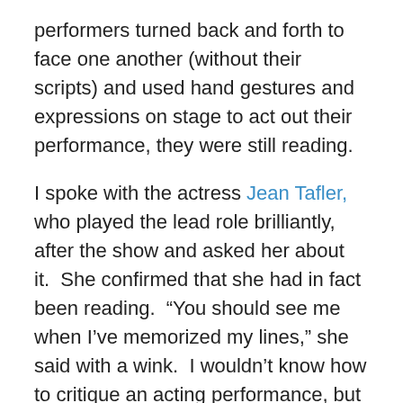performers turned back and forth to face one another (without their scripts) and used hand gestures and expressions on stage to act out their performance, they were still reading.
I spoke with the actress Jean Tafler, who played the lead role brilliantly, after the show and asked her about it.  She confirmed that she had in fact been reading.  “You should see me when I’ve memorized my lines,” she said with a wink.  I wouldn’t know how to critique an acting performance, but I would give her reading performance five stars.
Every writer needs to learn how to read aloud to promote his/her book.  I participated in a few “open mic” sessions with the California Writer’s Club before I moved back to Connecticut.  I always thought that I had done pretty well,